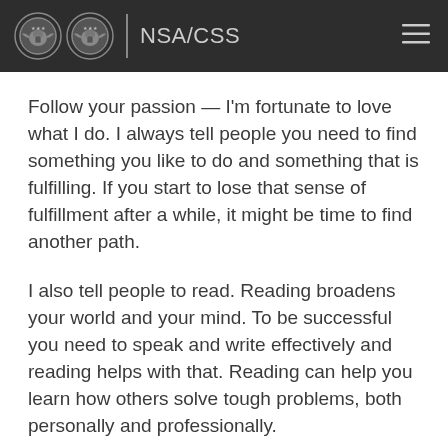NSA/CSS
Follow your passion — I'm fortunate to love what I do. I always tell people you need to find something you like to do and something that is fulfilling. If you start to lose that sense of fulfillment after a while, it might be time to find another path.
I also tell people to read. Reading broadens your world and your mind. To be successful you need to speak and write effectively and reading helps with that. Reading can help you learn how others solve tough problems, both personally and professionally.